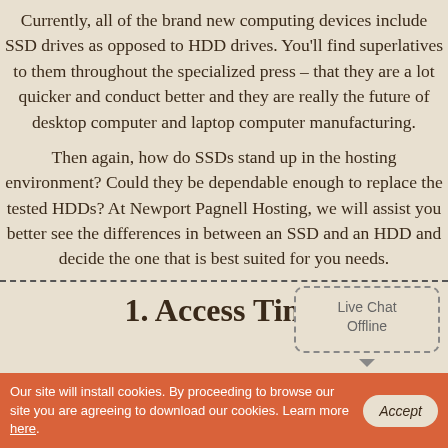Currently, all of the brand new computing devices include SSD drives as opposed to HDD drives. You'll find superlatives to them throughout the specialized press – that they are a lot quicker and conduct better and they are really the future of desktop computer and laptop computer manufacturing.
Then again, how do SSDs stand up in the hosting environment? Could they be dependable enough to replace the tested HDDs? At Newport Pagnell Hosting, we will assist you better see the differences in between an SSD and an HDD and decide the one that is best suited for you needs.
1. Access Time
Our site will install cookies. By proceeding to browse our site you are agreeing to download our cookies. Learn more here.